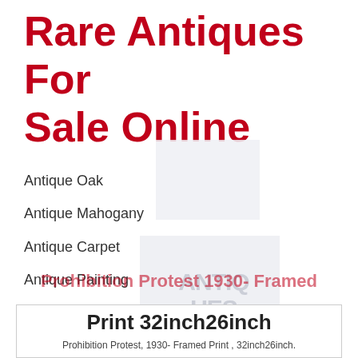Rare Antiques For Sale Online
Antique Oak
Antique Mahogany
Antique Carpet
Antique Painting
Antique Glass
Antique Plate
Prohibition Protest 1930- Framed Print 32inch26inch
Prohibition Protest, 1930- Framed Print , 32inch26inch.